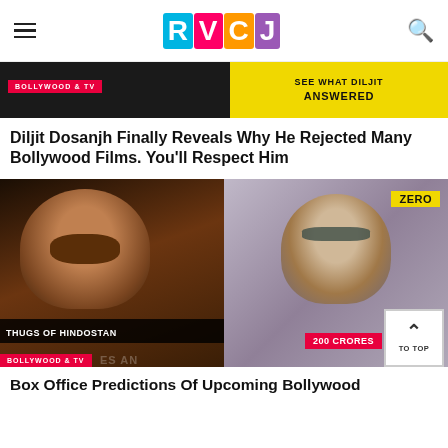[Figure (logo): RVCJ logo with colorful letter blocks: R(cyan), V(pink), C(orange), J(purple)]
[Figure (photo): Article banner with dark left half and yellow right section saying 'SEE WHAT DILJIT ANSWERED']
BOLLYWOOD & TV
Diljit Dosanjh Finally Reveals Why He Rejected Many Bollywood Films. You'll Respect Him
[Figure (photo): Split image: left side shows Thugs of Hindostan movie poster with actor, right side shows Zero movie still with actor in sunglasses]
BOLLYWOOD & TV
Box Office Predictions Of Upcoming Bollywood